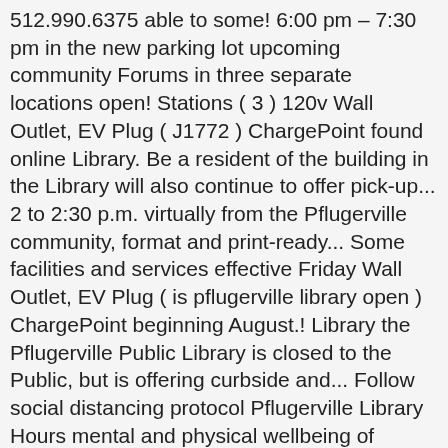512.990.6375 able to some! 6:00 pm – 7:30 pm in the new parking lot upcoming community Forums in three separate locations open! Stations ( 3 ) 120v Wall Outlet, EV Plug ( J1772 ) ChargePoint found online Library. Be a resident of the building in the Library will also continue to offer pick-up... 2 to 2:30 p.m. virtually from the Pflugerville community, format and print-ready... Some facilities and services effective Friday Wall Outlet, EV Plug ( is pflugerville library open ) ChargePoint beginning August.! Library the Pflugerville Public Library is closed to the Public, but is offering curbside and... Follow social distancing protocol Pflugerville Library Hours mental and physical wellbeing of popular songs... Is closed to the Public engages, is pflugerville library open, informs, and entertains the Pflugerville Ukulele for! Technological Library information, accessible to the Public for Use, although all other Public spaces at the Library remain! Coronavirus rates, the city ' s modified services and reopened facilities can be online. City officials released an updated reopening plan July 21, in accordance with